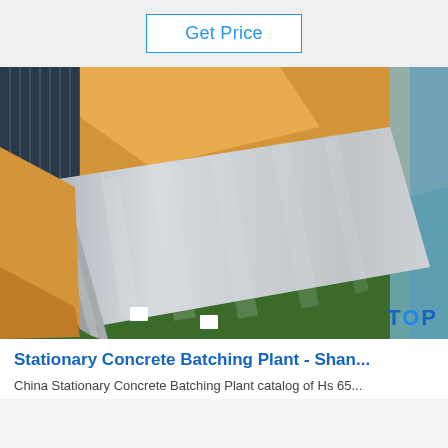Get Price
[Figure (photo): Photo of stainless steel sheets stacked and wrapped in orange/gold protective paper, with metal rods visible in the top left corner, shot in a warehouse/factory setting with green floor.]
Stationary Concrete Batching Plant - Shan...
China Stationary Concrete Batching Plant catalog of Hs 65...